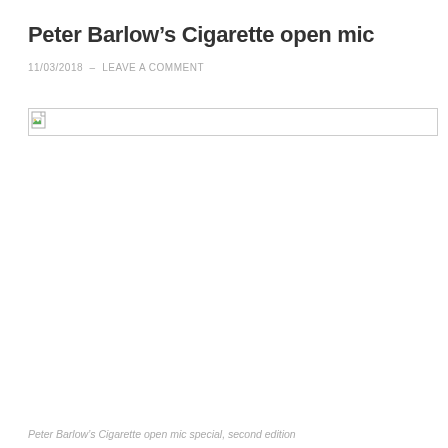Peter Barlow's Cigarette open mic
11/03/2018 – LEAVE A COMMENT
[Figure (other): Broken image placeholder with small broken image icon and a thin border, image failed to load]
Peter Barlow's Cigarette open mic special, second edition